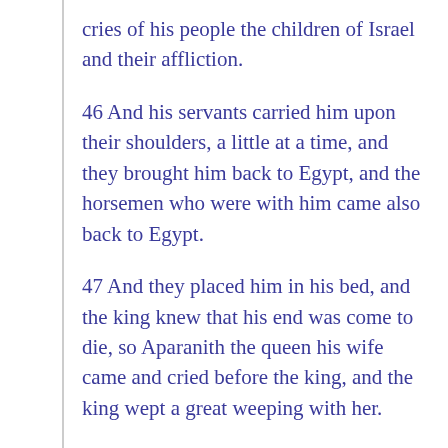cries of his people the children of Israel and their affliction.
46 And his servants carried him upon their shoulders, a little at a time, and they brought him back to Egypt, and the horsemen who were with him came also back to Egypt.
47 And they placed him in his bed, and the king knew that his end was come to die, so Aparanith the queen his wife came and cried before the king, and the king wept a great weeping with her.